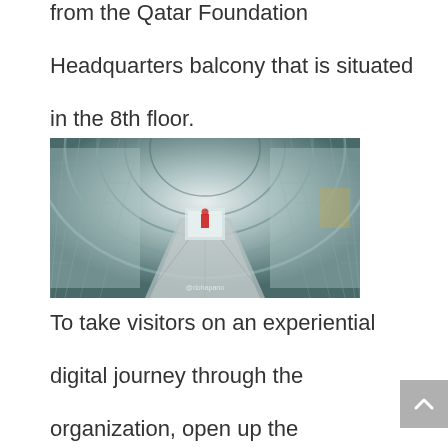from the Qatar Foundation Headquarters balcony that is situated in the 8th floor.
[Figure (photo): 360-degree fisheye panoramic photo of the interior of Qatar Foundation Headquarters, showing a corridor with glass and metal grid ceiling/walls in a tunnel-like perspective with a small red figure visible in the center.]
To take visitors on an experiential digital journey through the organization, open up the